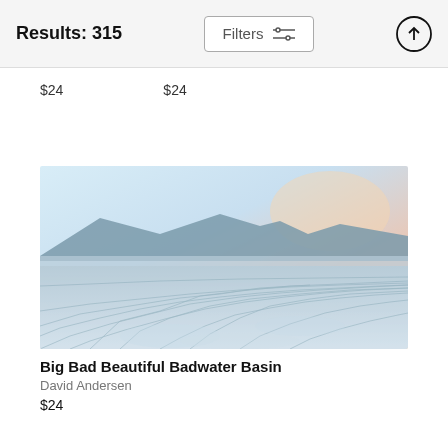Results: 315
Filters
$24   $24
[Figure (photo): Landscape photo of Badwater Basin salt flats at sunset/dawn with mountains in background and pale blue-white cracked salt surface in foreground.]
Big Bad Beautiful Badwater Basin
David Andersen
$24